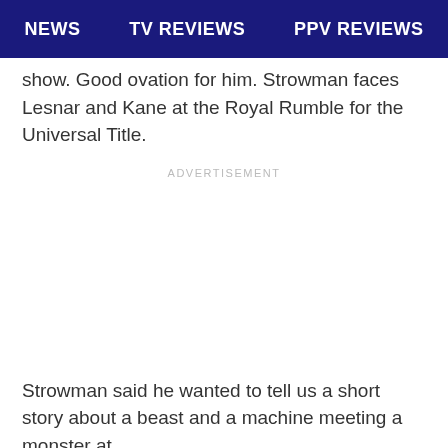NEWS   TV REVIEWS   PPV REVIEWS
show. Good ovation for him. Strowman faces Lesnar and Kane at the Royal Rumble for the Universal Title.
ADVERTISEMENT
Strowman said he wanted to tell us a short story about a beast and a machine meeting a monster at